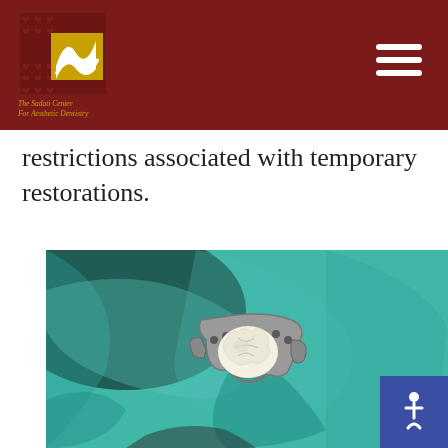The Sadati Center For Aesthetic Dentistry
restrictions associated with temporary restorations.
[Figure (photo): Close-up dental photo showing a molar tooth held in a metal clamp/matrix band against a teal/green rubber dam background, clinical dental procedure setting.]